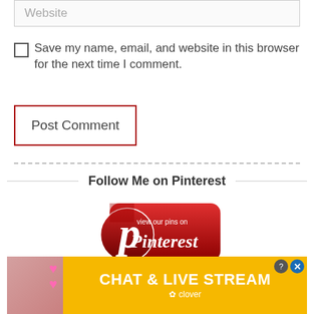Website
Save my name, email, and website in this browser for the next time I comment.
Post Comment
Follow Me on Pinterest
[Figure (logo): Pinterest 'view our pins on Pinterest' badge button with red background and Pinterest logo]
Click Here(2x) To
Clöse
[Figure (photo): Advertisement banner with orange/yellow background showing a woman on a beach with hearts, text CHAT & LIVE STREAM with Clover branding]